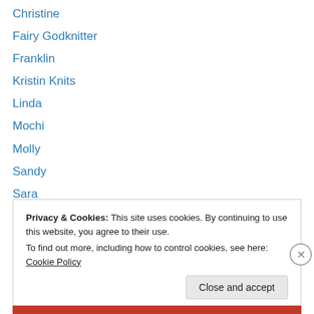Christine
Fairy Godknitter
Franklin
Kristin Knits
Linda
Mochi
Molly
Sandy
Sara
Unraveling
Venka
Viking Princess
WordPress.com
Privacy & Cookies: This site uses cookies. By continuing to use this website, you agree to their use. To find out more, including how to control cookies, see here: Cookie Policy
Close and accept